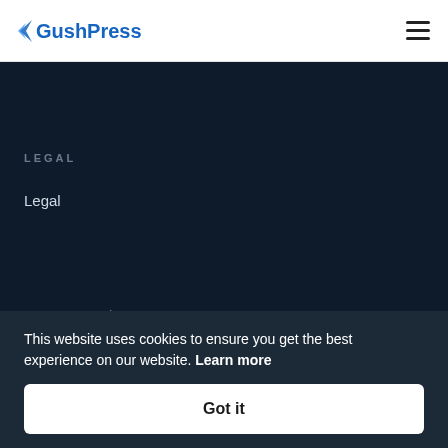GushPress
LEGAL
Legal
[Figure (logo): Capterra logo with arrow icon and star rating 4.7 in orange]
This website uses cookies to ensure you get the best experience on our website. Learn more
Got it